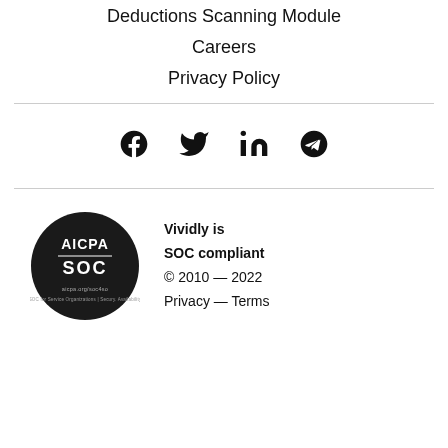Deductions Scanning Module
Careers
Privacy Policy
[Figure (infographic): Social media icons row: Facebook, Twitter, LinkedIn, Telegram]
[Figure (logo): AICPA SOC compliance badge — circular dark badge with AICPA SOC text]
Vividly is SOC compliant
© 2010 — 2022
Privacy — Terms